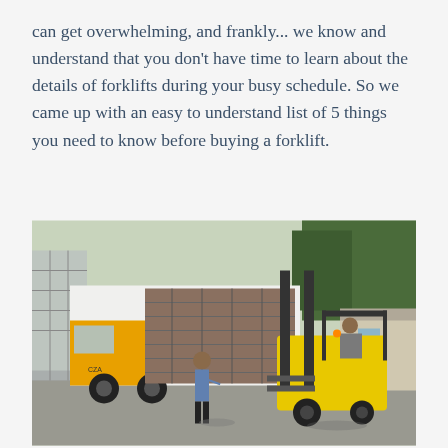can get overwhelming, and frankly... we know and understand that you don't have time to learn about the details of forklifts during your busy schedule. So we came up with an easy to understand list of 5 things you need to know before buying a forklift.
[Figure (photo): A yellow forklift operator loading or unloading stacked shelving racks from the back of an orange/yellow truck at a warehouse or industrial yard. A worker in a blue shirt stands nearby watching. Trees and a small building are visible in the background.]